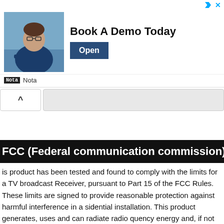[Figure (screenshot): Advertisement banner: photo of man with glasses at desk, headline 'Book A Demo Today', 'Open' button, Nota brand logo]
[Figure (screenshot): Collapsible UI bar with a chevron-up button on the left and a grey rounded rectangle on the right]
FCC (Federal communication commission) Inform
is product has been tested and found to comply with the limits for a TV broadcast Receiver, pursuant to Part 15 of the FCC Rules. These limits are signed to provide reasonable protection against harmful interference in a sidential installation. This product generates, uses and can radiate radio quency energy and, if not installed and used in accordance with the instructions, ay cause harmful interference to radio communications. If this product does use or receive interference, which can be determined by turning product off and , the user is encouraged to try to correct the interference by one of the following asures: